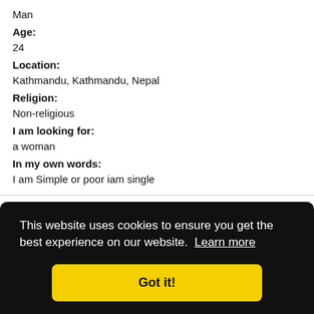Man
Age:
24
Location:
Kathmandu, Kathmandu, Nepal
Religion:
Non-religious
I am looking for:
a woman
In my own words:
I am Simple or poor iam single
This website uses cookies to ensure you get the best experience on our website. Learn more
Got it!
Bāglung, Baglung, Nepal